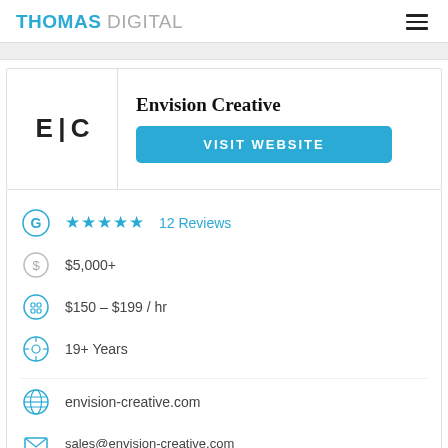THOMAS DIGITAL
[Figure (logo): E|C company logo — two letters E and C separated by a vertical bar]
Envision Creative
VISIT WEBSITE
★★★★★ 12 Reviews
$5,000+
$150 – $199 / hr
19+ Years
envision-creative.com
sales@envision-creative.com
512-292-1049